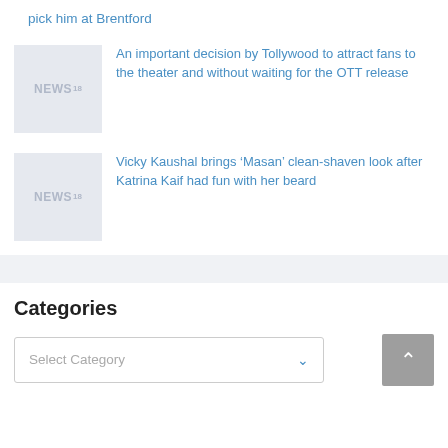pick him at Brentford
[Figure (logo): NEWS18 logo placeholder thumbnail]
An important decision by Tollywood to attract fans to the theater and without waiting for the OTT release
[Figure (logo): NEWS18 logo placeholder thumbnail]
Vicky Kaushal brings ‘Masan’ clean-shaven look after Katrina Kaif had fun with her beard
Categories
Select Category